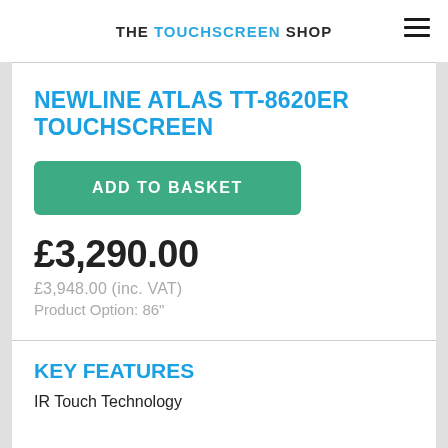THE TOUCHSCREEN SHOP
NEWLINE ATLAS TT-8620ER TOUCHSCREEN
ADD TO BASKET
£3,290.00
£3,948.00 (inc. VAT)
Product Option: 86"
KEY FEATURES
IR Touch Technology